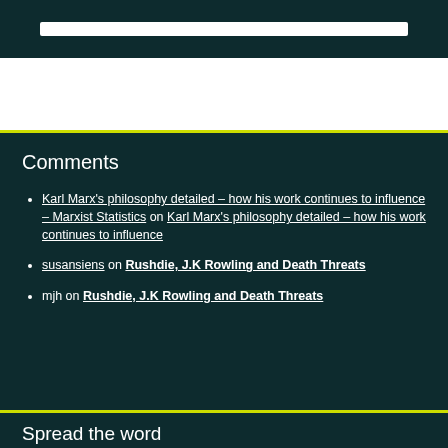Comments
Karl Marx's philosophy detailed – how his work continues to influence – Marxist Statistics on Karl Marx's philosophy detailed – how his work continues to influence
susansiens on Rushdie, J.K Rowling and Death Threats
mjh on Rushdie, J.K Rowling and Death Threats
Spread the word